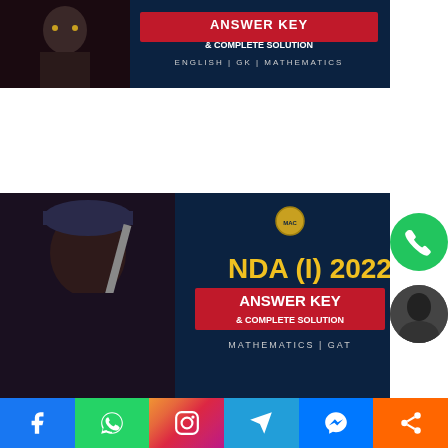[Figure (illustration): Top banner: NDA answer key promotional image showing a military officer in uniform with text 'ANSWER KEY & COMPLETE SOLUTION' on red background and 'ENGLISH | GK | MATHEMATICS' on dark navy background]
[Figure (illustration): Bottom banner: NDA (I) 2022 answer key promotional image showing a military cadet holding a sword with text 'NDA (I) 2022 ANSWER KEY & COMPLETE SOLUTION MATHEMATICS | GAT' with MAC logo on dark navy background]
[Figure (illustration): Social media sharing bar at bottom with Facebook, WhatsApp, Instagram, Telegram, Messenger, and Share buttons]